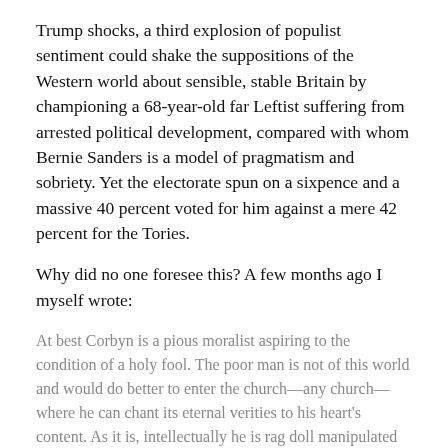Trump shocks, a third explosion of populist sentiment could shake the suppositions of the Western world about sensible, stable Britain by championing a 68-year-old far Leftist suffering from arrested political development, compared with whom Bernie Sanders is a model of pragmatism and sobriety. Yet the electorate spun on a sixpence and a massive 40 percent voted for him against a mere 42 percent for the Tories.
Why did no one foresee this? A few months ago I myself wrote:
At best Corbyn is a pious moralist aspiring to the condition of a holy fool. The poor man is not of this world and would do better to enter the church—any church—where he can chant its eternal verities to his heart's content. As it is, intellectually he is rag doll manipulated by a couple of expensively-educated neo-Marxist puppeteers.
The voters appear to have taken another view. My consolation is that I was not alone. Corbyn was seen by